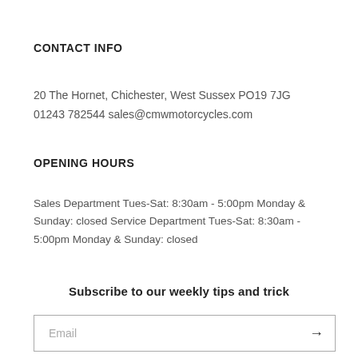CONTACT INFO
20 The Hornet, Chichester, West Sussex PO19 7JG
01243 782544 sales@cmwmotorcycles.com
OPENING HOURS
Sales Department Tues-Sat: 8:30am - 5:00pm Monday & Sunday: closed Service Department Tues-Sat: 8:30am - 5:00pm Monday & Sunday: closed
Subscribe to our weekly tips and trick
Email